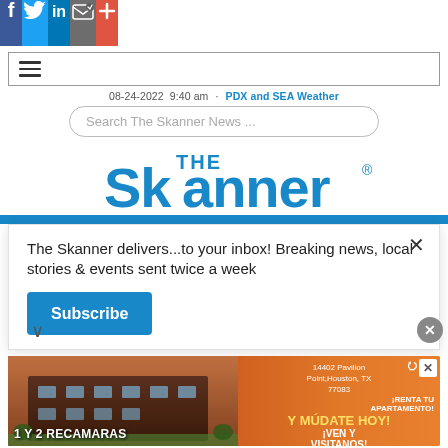[Figure (screenshot): Social media share bar with Facebook, Twitter, LinkedIn, email, and plus icons]
[Figure (screenshot): Hamburger menu bar with three horizontal lines icon]
08-24-2022  9:40 am · PDX and SEA Weather
[Figure (screenshot): Search box with placeholder text 'Search The Skanner News ...']
[Figure (logo): The Skanner newspaper logo in blue]
The Skanner delivers...to your inbox! Breaking news, local stories & events sent twice a week
[Figure (screenshot): Subscribe button in blue]
[Figure (photo): Sedona Apartments advertisement: apartment building photo with text '1 Y 2 RECAMARAS', '14402 Pavilion Point, Houston, TX 77083', 'www.apartments.com', '281-568-4596', 'RENTA TU APARTAMENTO Y MUDATE HOY! IVEN Y VISITANOS']